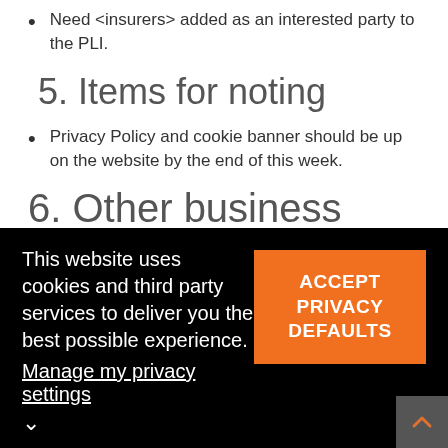Need <insurers> added as an interested party to the PLI.
5. Items for noting
Privacy Policy and cookie banner should be up on the website by the end of this week.
6. Other business
Election
This website uses cookies and third party services to deliver you the best possible experience. Manage my privacy settings
ACCEPT PRIVACY DEFAULTS